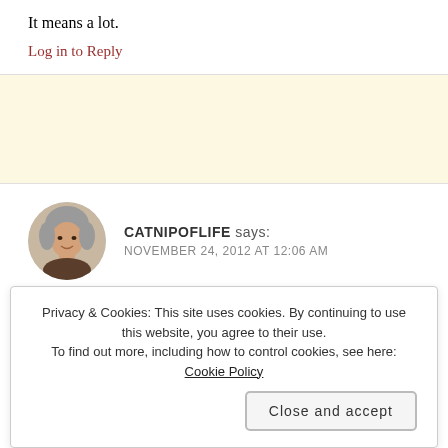It means a lot.
Log in to Reply
CATNIPOFLIFE says:
NOVEMBER 24, 2012 AT 12:06 AM
Awesome! Pinned and Tweeted. Will reblog tomorrow:>)
Privacy & Cookies: This site uses cookies. By continuing to use this website, you agree to their use.
To find out more, including how to control cookies, see here: Cookie Policy
Close and accept